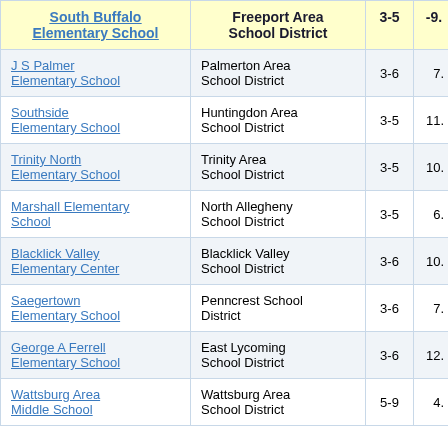| School | District | Grades | Value |
| --- | --- | --- | --- |
| South Buffalo Elementary School | Freeport Area School District | 3-5 | -9. |
| J S Palmer Elementary School | Palmerton Area School District | 3-6 | 7. |
| Southside Elementary School | Huntingdon Area School District | 3-5 | 11. |
| Trinity North Elementary School | Trinity Area School District | 3-5 | 10. |
| Marshall Elementary School | North Allegheny School District | 3-5 | 6. |
| Blacklick Valley Elementary Center | Blacklick Valley School District | 3-6 | 10. |
| Saegertown Elementary School | Penncrest School District | 3-6 | 7. |
| George A Ferrell Elementary School | East Lycoming School District | 3-6 | 12. |
| Wattsburg Area Middle School | Wattsburg Area School District | 5-9 | 4. |